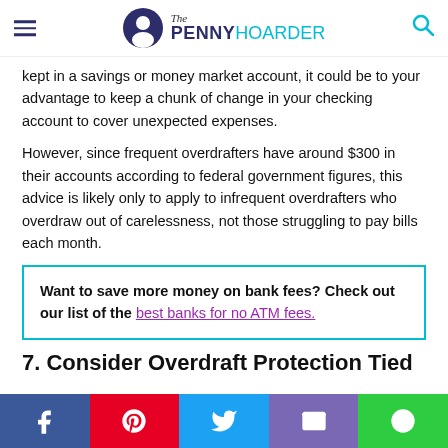The PENNY HOARDER
kept in a savings or money market account, it could be to your advantage to keep a chunk of change in your checking account to cover unexpected expenses.
However, since frequent overdrafters have around $300 in their accounts according to federal government figures, this advice is likely only to apply to infrequent overdrafters who overdraw out of carelessness, not those struggling to pay bills each month.
Want to save more money on bank fees? Check out our list of the best banks for no ATM fees.
7. Consider Overdraft Protection Tied